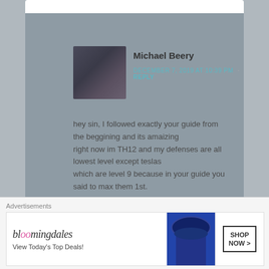Michael Beery
DECEMBER 7, 2019 AT 10:39 PM  ·  REPLY
hey sin, I followed exactly your guide from the beggining and its amaizing
right now im TH12 and my defenses are all lowest level except teslas which are level 9 because in your guide you said to max them 1st.

should I max Xbows now although all my other defenses are low level?
or better to upgrade everything to around TH10 defense and than maxing traps and xbows?
★ Like
SinOfDusk
Advertisements
[Figure (photo): Bloomingdale's advertisement banner: logo, 'View Today's Top Deals!', woman with hat, SHOP NOW button]